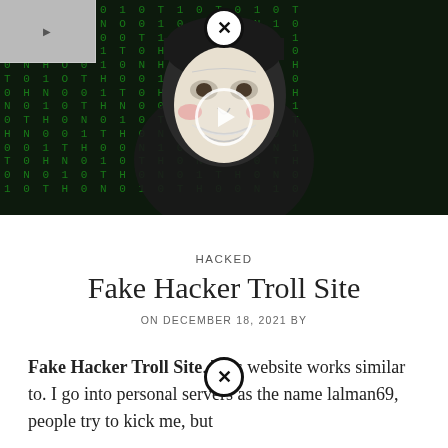[Figure (photo): Person wearing a Guy Fawkes / Anonymous mask and dark beanie hat, set against a green matrix-style binary code background. A circular play button overlay is centered on the image. A close (X) button appears at the top center. A small thumbnail is visible in the top-left corner.]
HACKED
Fake Hacker Troll Site
ON DECEMBER 18, 2021 BY
Fake Hacker Troll Site. This website works similar to. I go into personal servers as the name lalman69, people try to kick me, but